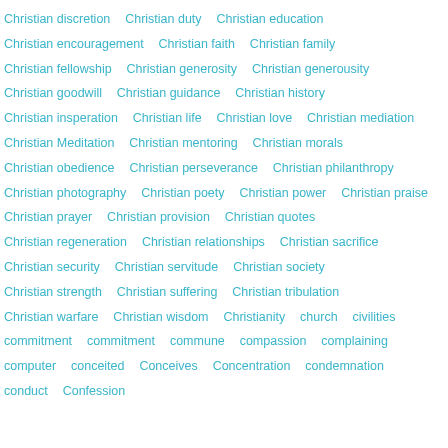Christian discretion  Christian duty  Christian education  Christian encouragement  Christian faith  Christian family  Christian fellowship  Christian generosity  Christian generousity  Christian goodwill  Christian guidance  Christian history  Christian insperation  Christian life  Christian love  Christian mediation  Christian Meditation  Christian mentoring  Christian morals  Christian obedience  Christian perseverance  Christian philanthropy  Christian photography  Christian poety  Christian power  Christian praise  Christian prayer  Christian provision  Christian quotes  Christian regeneration  Christian relationships  Christian sacrifice  Christian security  Christian servitude  Christian society  Christian strength  Christian suffering  Christian tribulation  Christian warfare  Christian wisdom  Christianity  church  civilities  commitment  commitment  commune  compassion  complaining  computer  conceited  Conceives  Concentration  condemnation  conduct  Confession